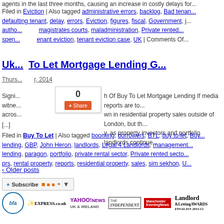agents in the last three months, causing an increase in costly delays for...
Filed in Eviction | Also tagged administrative errors, backlog, Bad tenant, defaulting tenant, delay, errors, Eviction, figures, fiscal, Government, j... autho..., magistrates courts, maladministration, Private rented..., spen..., enant eviction, tenant eviction case, UK | Comments Of...
Uk... To Let Mortgage Lending G...
Thurs... r, 2014
0 (share counter)
Signi... h Of Buy To Let Mortgage Lending If media reports are to... witne... wn in residential property sales outside of London, but th... acros... y, as property investors and portfolio landlords continue...
[...]
Filed in Buy To Let | Also tagged booming, borrowers, BTL, buy to let, Buy... lending, GBP, John Heron, landlords, Legal 4 Landlords, management... lending, paragon, portfolio, private rental sector, Private rented secto... prs, rental property, reports, residential property, sales, sim sekhon, U...
‹ Older posts
[Figure (logo): Subscribe button with RSS and other feed icons]
[Figure (logo): Media logos row: bfa, EXPRESS.co.uk, YAHOO!NEWS, THE INDEPENDENT, Manchester Evening News, Landlord & Letting AWARDS FINALIST 2011/12]